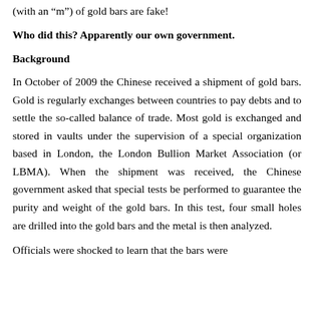(with an “m”) of gold bars are fake!
Who did this? Apparently our own government.
Background
In October of 2009 the Chinese received a shipment of gold bars. Gold is regularly exchanges between countries to pay debts and to settle the so-called balance of trade. Most gold is exchanged and stored in vaults under the supervision of a special organization based in London, the London Bullion Market Association (or LBMA). When the shipment was received, the Chinese government asked that special tests be performed to guarantee the purity and weight of the gold bars. In this test, four small holes are drilled into the gold bars and the metal is then analyzed.
Officials were shocked to learn that the bars were